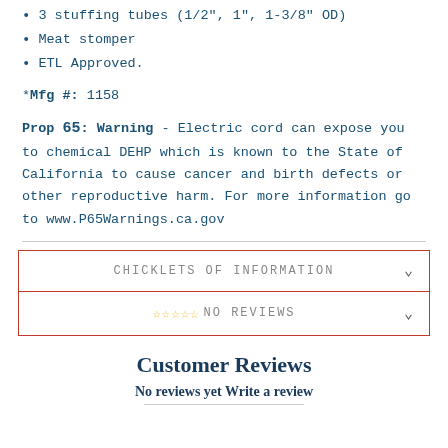3 stuffing tubes (1/2", 1", 1-3/8" OD)
Meat stomper
ETL Approved.
*Mfg #: 1158
Prop 65: Warning - Electric cord can expose you to chemical DEHP which is known to the State of California to cause cancer and birth defects or other reproductive harm. For more information go to www.P65Warnings.ca.gov
CHICKLETS OF INFORMATION
NO REVIEWS
Customer Reviews
No reviews yet Write a review